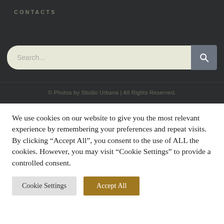CONTACTS
[Figure (screenshot): Search bar with a rounded beige/cream input field showing placeholder text 'Search...' and a gray search button with a magnifying glass icon on the right]
© Photos by Studio Urbana | All Rights Reserved.
We use cookies on our website to give you the most relevant experience by remembering your preferences and repeat visits. By clicking "Accept All", you consent to the use of ALL the cookies. However, you may visit "Cookie Settings" to provide a controlled consent.
Cookie Settings
Accept All